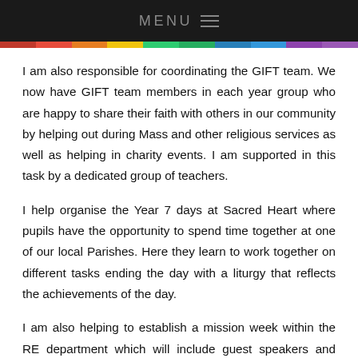MENU ☰
I am also responsible for coordinating the GIFT team. We now have GIFT team members in each year group who are happy to share their faith with others in our community by helping out during Mass and other religious services as well as helping in charity events. I am supported in this task by a dedicated group of teachers.
I help organise the Year 7 days at Sacred Heart where pupils have the opportunity to spend time together at one of our local Parishes. Here they learn to work together on different tasks ending the day with a liturgy that reflects the achievements of the day.
I am also helping to establish a mission week within the RE department which will include guest speakers and activities for